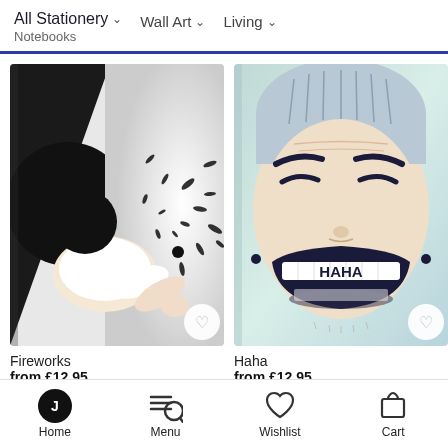All Stationery (Notebooks) | Wall Art | Living
[Figure (illustration): Notebook cover showing illustrated person punching wall with fireworks/birds scattering, black and white graphic art style]
Fireworks
from £12.95
[Figure (illustration): Notebook cover showing illustrated laughing face with HAHA text on teeth, blue hair, on pastel green-blue background]
Haha
from £12.95
Home | Menu | Wishlist | Cart